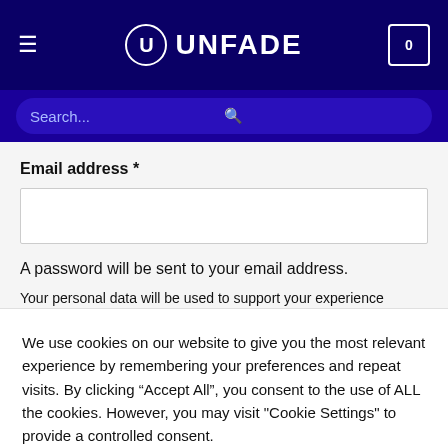[Figure (screenshot): UNFADE website header with hamburger menu, logo (circle U icon + UNFADE text), and shopping cart button showing 0]
[Figure (screenshot): Dark blue search bar with placeholder text 'Search...' and magnifying glass icon]
Email address *
A password will be sent to your email address.
Your personal data will be used to support your experience throughout this website, to manage access to your account, and for other purposes described in
We use cookies on our website to give you the most relevant experience by remembering your preferences and repeat visits. By clicking “Accept All”, you consent to the use of ALL the cookies. However, you may visit "Cookie Settings" to provide a controlled consent.
Cookie Settings
Accept All